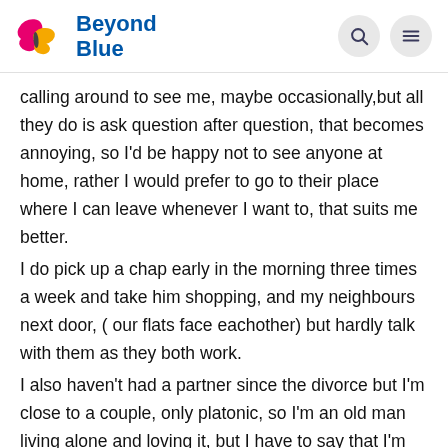Beyond Blue
calling around to see me, maybe occasionally,but all they do is ask question after question, that becomes annoying, so I'd be happy not to see anyone at home, rather I would prefer to go to their place where I can leave whenever I want to, that suits me better.
I do pick up a chap early in the morning three times a week and take him shopping, and my neighbours next door, ( our flats face eachother) but hardly talk with them as they both work.
I also haven't had a partner since the divorce but I'm close to a couple, only platonic, so I'm an old man living alone and loving it, but I have to say that I'm sorry for you, Geoff.